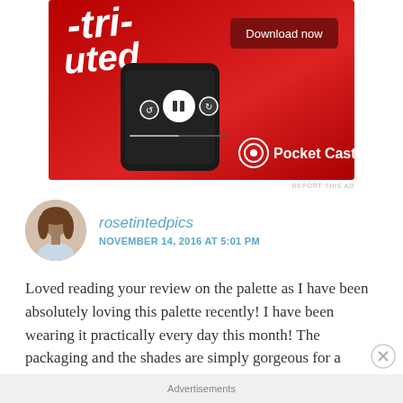[Figure (photo): Pocket Casts podcast app advertisement on red background with phone showing audio player controls and a Download now button]
REPORT THIS AD
rosetintedpics
NOVEMBER 14, 2016 AT 5:01 PM
Loved reading your review on the palette as I have been absolutely loving this palette recently! I have been wearing it practically every day this month! The packaging and the shades are simply gorgeous for a gold/copper eye for this time of year! xx
Advertisements